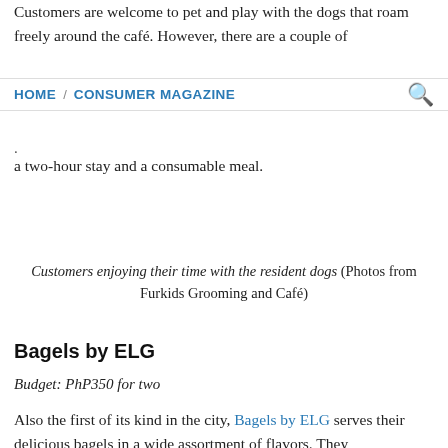Customers are welcome to pet and play with the dogs that roam freely around the café. However, there are a couple of
HOME / CONSUMER MAGAZINE
. a two-hour stay and a consumable meal.
Customers enjoying their time with the resident dogs (Photos from Furkids Grooming and Café)
Bagels by ELG
Budget: PhP350 for two
Also the first of its kind in the city, Bagels by ELG serves their delicious bagels in a wide assortment of flavors. They